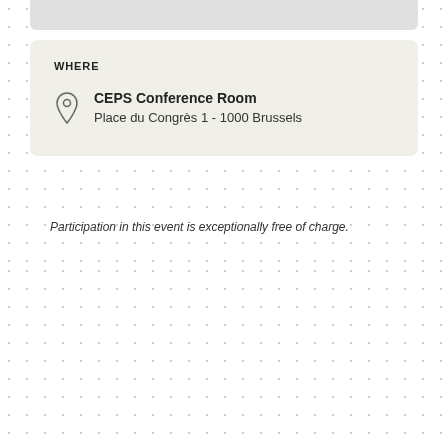WHERE
CEPS Conference Room
Place du Congrès 1 - 1000 Brussels
Participation in this event is exceptionally free of charge.